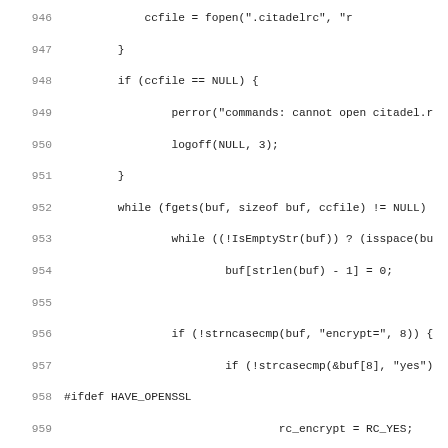[Figure (screenshot): Source code listing showing C code with line numbers 946-978, featuring file I/O, string comparison, and preprocessor directives for HAVE_OPENSSL]